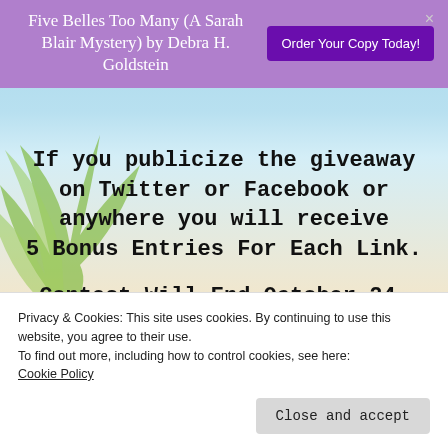Five Belles Too Many (A Sarah Blair Mystery) by Debra H. Goldstein
Order Your Copy Today!
If you publicize the giveaway on Twitter or Facebook or anywhere you will receive 5 Bonus Entries For Each Link.
Contest Will End October 24, 2018, at 11:59 PM CST
Privacy & Cookies: This site uses cookies. By continuing to use this website, you agree to their use.
To find out more, including how to control cookies, see here:
Cookie Policy
Close and accept